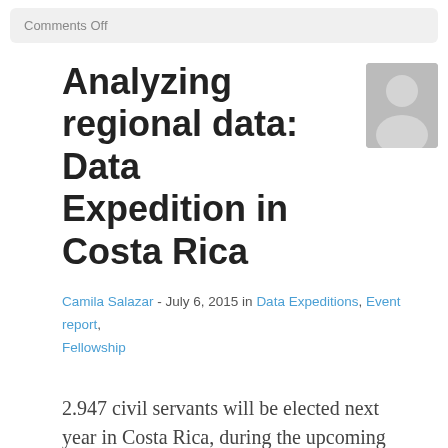Comments Off
Analyzing regional data: Data Expedition in Costa Rica
Camila Salazar - July 6, 2015 in Data Expeditions, Event report, Fellowship
2.947 civil servants will be elected next year in Costa Rica, during the upcoming municipal elections. But, are the citizens aware of what's going on in every district? Do they know the main issues their district is facing or the way the budget been spent?